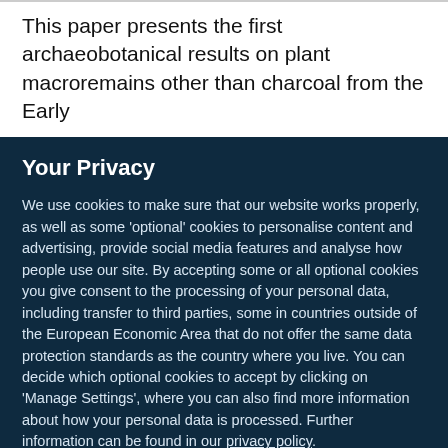This paper presents the first archaeobotanical results on plant macroremains other than charcoal from the Early
Your Privacy
We use cookies to make sure that our website works properly, as well as some 'optional' cookies to personalise content and advertising, provide social media features and analyse how people use our site. By accepting some or all optional cookies you give consent to the processing of your personal data, including transfer to third parties, some in countries outside of the European Economic Area that do not offer the same data protection standards as the country where you live. You can decide which optional cookies to accept by clicking on 'Manage Settings', where you can also find more information about how your personal data is processed. Further information can be found in our privacy policy.
Accept all cookies
Manage preferences